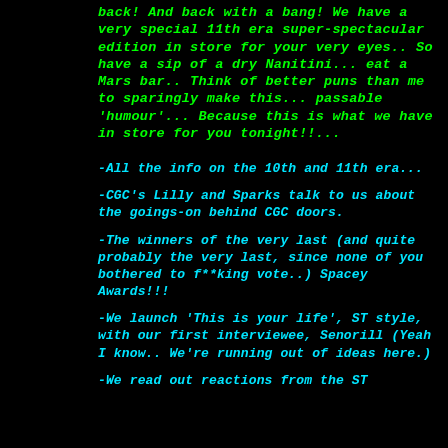back! And back with a bang! We have a very special 11th era super-spectacular edition in store for your very eyes.. So have a sip of a dry Nanitini... eat a Mars bar.. Think of better puns than me to sparingly make this... passable 'humour'... Because this is what we have in store for you tonight!!...
-All the info on the 10th and 11th era...
-CGC's Lilly and Sparks talk to us about the goings-on behind CGC doors.
-The winners of the very last (and quite probably the very last, since none of you bothered to f**king vote..) Spacey Awards!!!
-We launch 'This is your life', ST style, with our first interviewee, Senorill (Yeah I know.. We're running out of ideas here.)
-We read out reactions from the ST